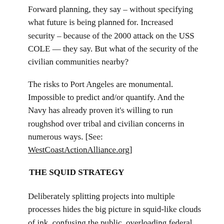Forward planning, they say – without specifying what future is being planned for. Increased security – because of the 2000 attack on the USS COLE — they say. But what of the security of the civilian communities nearby?
The risks to Port Angeles are monumental. Impossible to predict and/or quantify. And the Navy has already proven it's willing to run roughshod over tribal and civilian concerns in numerous ways. [See: WestCoastActionAlliance.org]
THE SQUID STRATEGY
Deliberately splitting projects into multiple processes hides the big picture in squid-like clouds of ink, confusing the public, overloading federal and state agencies that should be consulted, and making legal remedies ineffective.
The facilities at Port Angeles and Bangor are actually interconnected parts of a larger Transit Protection System —